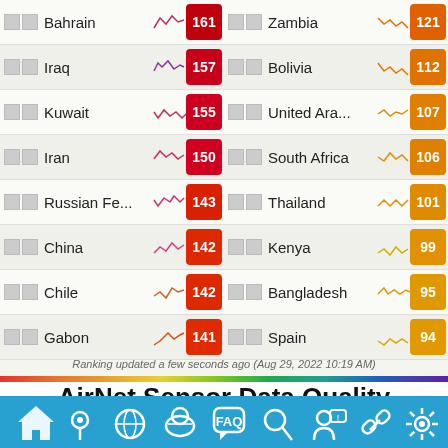| Flag | Country | Sparkline | Value | Flag | Country | Sparkline | Value |
| --- | --- | --- | --- | --- | --- | --- | --- |
| 🇧🇭 | Bahrain | ~ | 161 | 🇿🇲 | Zambia | ~ | 121 |
| 🇮🇶 | Iraq | ~ | 157 | 🇧🇴 | Bolivia | ~ | 112 |
| 🇰🇼 | Kuwait | ~ | 155 | 🇦🇪 | United Ara... | ~ | 107 |
| 🇮🇷 | Iran | ~ | 150 | 🇿🇦 | South Africa | ~ | 106 |
| 🇷🇺 | Russian Fe... | ~ | 143 | 🇹🇭 | Thailand | ~ | 101 |
| 🇨🇳 | China | ~ | 142 | 🇰🇪 | Kenya | ~ | 99 |
| 🇨🇱 | Chile | ~ | 142 | 🇧🇩 | Bangladesh | ~ | 95 |
| 🇬🇦 | Gabon | ~ | 141 | 🇪🇸 | Spain | ~ | 94 |
Ranking updated a few seconds ago (Aug 29, 2022 10:19 AM)
AirNet Sensor Data Quality Analysis